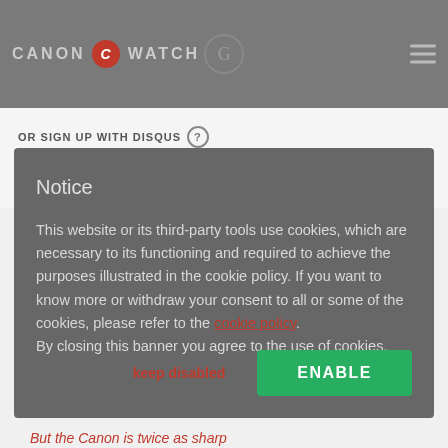[Figure (screenshot): Canon Watch website header with logo, social media icons, and hamburger menu on grey background]
OR SIGN UP WITH DISQUS ?
Name
Notice
This website or its third-party tools use cookies, which are necessary to its functioning and required to achieve the purposes illustrated in the cookie policy. If you want to know more or withdraw your consent to all or some of the cookies, please refer to the cookie policy. By closing this banner you agree to the use of cookies.
keep disabled
ENABLE
But the Canon is twice as sharp